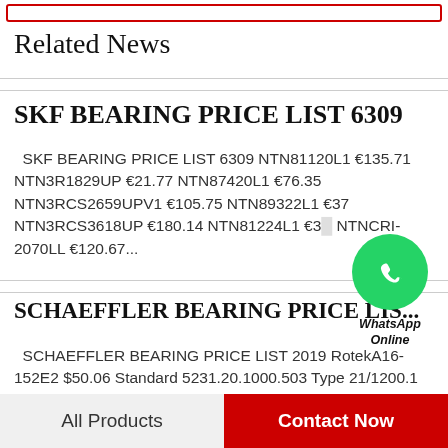Related News
SKF BEARING PRICE LIST 6309
SKF BEARING PRICE LIST 6309 NTN81120L1 €135.71 NTN3R1829UP €21.77 NTN87420L1 €76.35 NTN3RCS2659UPV1 €105.75 NTN89322L1 €37 NTN3RCS3618UP €180.14 NTN81224L1 €3... NTNCRI-2070LL €120.67...
[Figure (other): WhatsApp Online green chat bubble icon with text 'WhatsApp Online']
SCHAEFFLER BEARING PRICE LIS...
SCHAEFFLER BEARING PRICE LIST 2019 RotekA16-152E2 $50.06 Standard 5231.20.1000.503 Type 21/1200.1 $199.32 RotekS24-158E1 $169.10
All Products    Contact Now